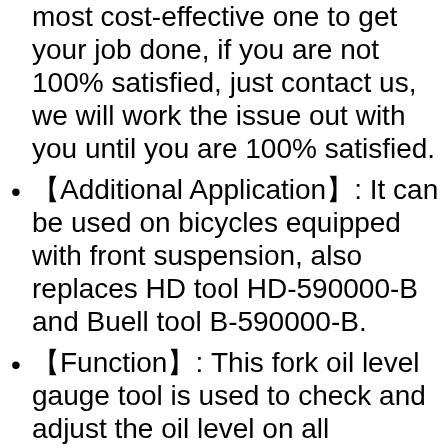most cost-effective one to get your job done, if you are not 100% satisfied, just contact us, we will work the issue out with you until you are 100% satisfied.
【Additional Application】: It can be used on bicycles equipped with front suspension, also replaces HD tool HD-590000-B and Buell tool B-590000-B.
【Function】: This fork oil level gauge tool is used to check and adjust the oil level on all conventional and single chamber cartridge forks, it is an essential tool for servicing your forks.
【Premium Quality】: This tool is made in Taiwan with premium